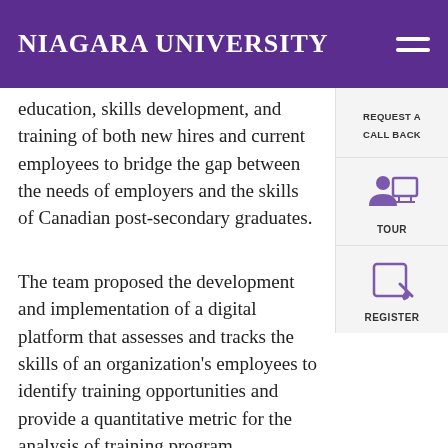Niagara University
education, skills development, and training of both new hires and current employees to bridge the gap between the needs of employers and the skills of Canadian post-secondary graduates.
The team proposed the development and implementation of a digital platform that assesses and tracks the skills of an organization's employees to identify training opportunities and provide a quantitative metric for the analysis of training program effectiveness. They noted that this data can also be utilized in conjunction with academic partners to develop specialized training programs, which would help to remedy the growing mismatch